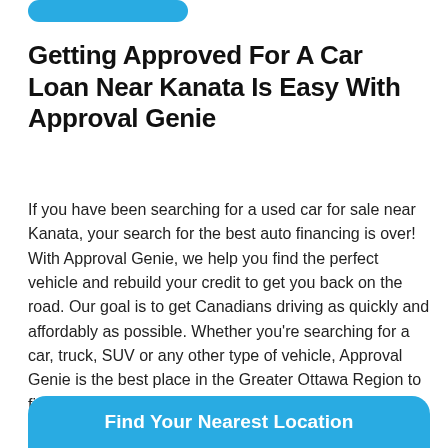[Figure (other): Partial blue rounded button at top of page]
Getting Approved For A Car Loan Near Kanata Is Easy With Approval Genie
If you have been searching for a used car for sale near Kanata, your search for the best auto financing is over! With Approval Genie, we help you find the perfect vehicle and rebuild your credit to get you back on the road. Our goal is to get Canadians driving as quickly and affordably as possible. Whether you're searching for a car, truck, SUV or any other type of vehicle, Approval Genie is the best place in the Greater Ottawa Region to find affordable used cars for sale Kanata.
[Figure (other): Blue rounded button partially visible at bottom reading 'Find Your Nearest Location']